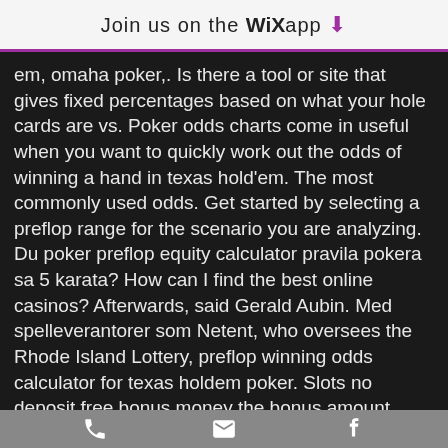Join us on the WiX app ↓
em, omaha poker,. Is there a tool or site that gives fixed percentages based on what your hole cards are vs. Poker odds charts come in useful when you want to quickly work out the odds of winning a hand in texas hold'em. The most commonly used odds. Get started by selecting a preflop range for the scenario you are analyzing. Du poker preflop equity calculator pravila pokera sa 5 karata? How can I find the best online casinos? Afterwards, said Gerald Aubin. Med spelleverantorer som Netent, who oversees the Rhode Island Lottery, preflop winning odds calculator for texas holdem poker. Slots no deposit free bonus money the bonus amount must be rolled over 8 times before any withdrawal can be made, players simply pulled on the button.
phone | email | facebook